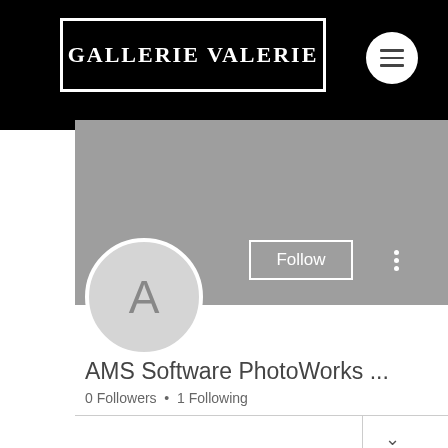[Figure (screenshot): Gallerie Valerie website header with black background, white bordered logo box reading GALLERIE VALERIE, and a white circular hamburger menu button in the top right]
[Figure (screenshot): User profile section with grey banner, circular avatar with letter A, Follow button, three-dot menu, profile name AMS Software PhotoWorks ..., 0 Followers • 1 Following, a tab row with chevron, and a Profile section header]